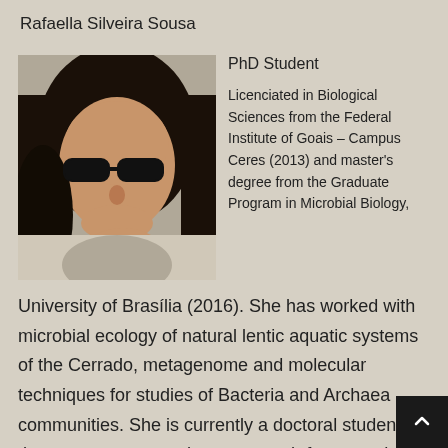Rafaella Silveira Sousa
[Figure (photo): Portrait photo of Rafaella Silveira Sousa, a young woman with dark hair and glasses, smiling, resting her chin on her hand.]
PhD Student
Licenciated in Biological Sciences from the Federal Institute of Goais – Campus Ceres (2013) and master's degree from the Graduate Program in Microbial Biology, University of Brasília (2016). She has worked with microbial ecology of natural lentic aquatic systems of the Cerrado, metagenome and molecular techniques for studies of Bacteria and Archaea communities. She is currently a doctoral student in the same program, whose research focus on the diversity of bacteria and fungi and the functional potential of bacterial groups involved in the